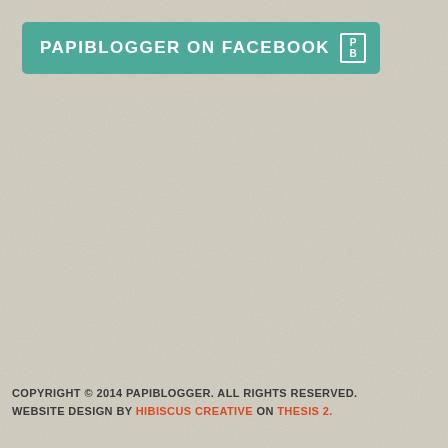[Figure (logo): Teal/green rounded rectangle badge reading 'PAPIBLOGGER ON FACEBOOK' with a PB icon on the right side]
COPYRIGHT © 2014 PAPIBLOGGER. ALL RIGHTS RESERVED. WEBSITE DESIGN BY HIBISCUS CREATIVE ON THESIS 2.